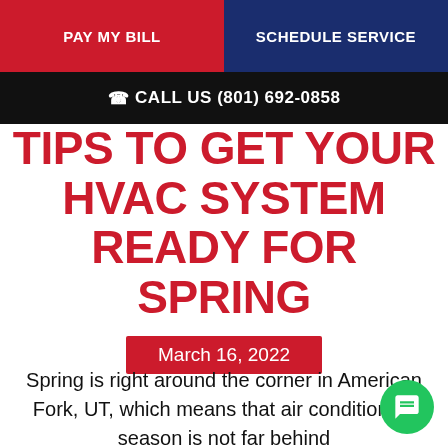PAY MY BILL | SCHEDULE SERVICE
CALL US (801) 692-0858
TIPS TO GET YOUR HVAC SYSTEM READY FOR SPRING
March 16, 2022
Spring is right around the corner in American Fork, UT, which means that air conditioning season is not far behind